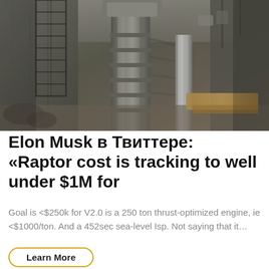[Figure (photo): Industrial construction site photo showing large metal pipe or column structure with ladder/scaffolding, surrounded by concrete walls and construction materials, viewed from ground looking up/across]
Elon Musk в Твиттере: «Raptor cost is tracking to well under $1M for
Goal is <$250k for V2.0 is a 250 ton thrust-optimized engine, ie <$1000/ton. And a 452sec sea-level Isp. Not saying that it…
Learn More